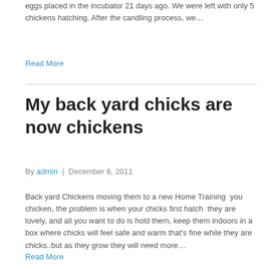eggs placed in the incubator 21 days ago. We were left with only 5 chickens hatching. After the candling process, we…
Read More
My back yard chicks are now chickens
By admin | December 6, 2011
Back yard Chickens moving them to a new Home Training  you chicken, the problem is when your chicks first hatch  they are lovely, and all you want to do is hold them, keep them indoors in a box where chicks will feel safe and warm that's fine while they are chicks..but as they grow they will need more…
Read More